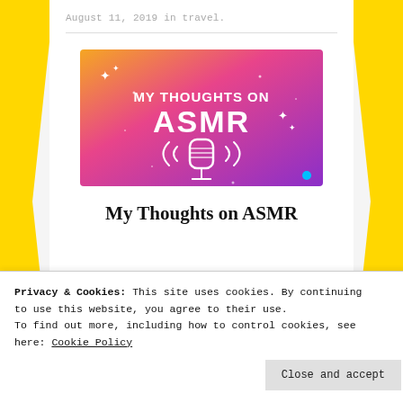August 11, 2019 in travel.
[Figure (illustration): Thumbnail image for 'My Thoughts on ASMR' post — gradient background from orange to magenta to purple with white text 'MY THOUGHTS ON ASMR' and a microphone icon with sound waves]
My Thoughts on ASMR
Privacy & Cookies: This site uses cookies. By continuing to use this website, you agree to their use.
To find out more, including how to control cookies, see here: Cookie Policy
Close and accept